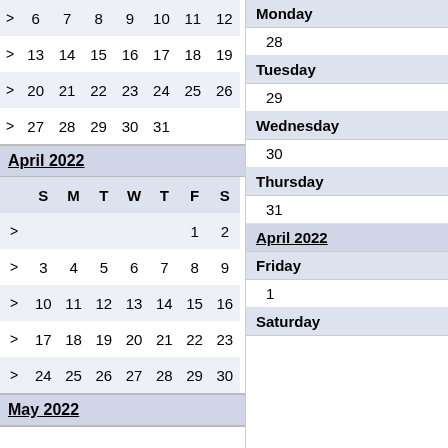| > | 6 | 7 | 8 | 9 | 10 | 11 | 12 |
| > | 13 | 14 | 15 | 16 | 17 | 18 | 19 |
| > | 20 | 21 | 22 | 23 | 24 | 25 | 26 |
| > | 27 | 28 | 29 | 30 | 31 |  |  |
April 2022
|  | S | M | T | W | T | F | S |
| --- | --- | --- | --- | --- | --- | --- | --- |
| > |  |  |  |  |  | 1 | 2 |
| > | 3 | 4 | 5 | 6 | 7 | 8 | 9 |
| > | 10 | 11 | 12 | 13 | 14 | 15 | 16 |
| > | 17 | 18 | 19 | 20 | 21 | 22 | 23 |
| > | 24 | 25 | 26 | 27 | 28 | 29 | 30 |
May 2022
Monday
28
Tuesday
29
Wednesday
30
Thursday
31
April 2022
Friday
1
Saturday